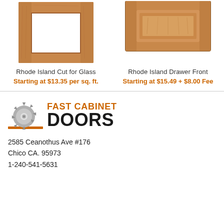[Figure (photo): Rhode Island Cut for Glass cabinet door — wooden frame with open center, light oak/walnut finish]
Rhode Island Cut for Glass
Starting at $13.35 per sq. ft.
[Figure (photo): Rhode Island Drawer Front — raised panel wooden drawer front, medium walnut finish]
Rhode Island Drawer Front
Starting at $15.49 + $8.00 Fee
[Figure (logo): Fast Cabinet Doors logo: circular saw blade icon with orange text FAST CABINET and black bold text DOORS, with orange underline]
2585 Ceanothus Ave #176
Chico CA. 95973
1-240-541-5631